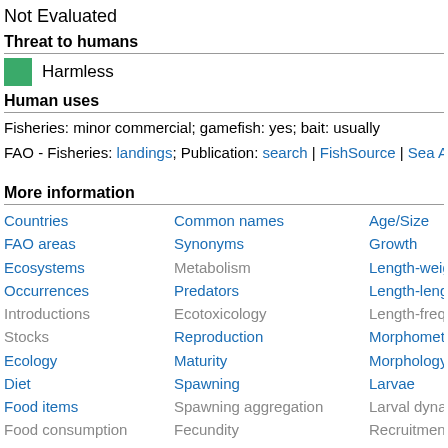Not Evaluated
Threat to humans
Harmless
Human uses
Fisheries: minor commercial; gamefish: yes; bait: usually
FAO - Fisheries: landings; Publication: search | FishSource | Sea Ar
More information
| Countries | Common names | Age/Size |
| FAO areas | Synonyms | Growth |
| Ecosystems | Metabolism | Length-weight |
| Occurrences | Predators | Length-length |
| Introductions | Ecotoxicology | Length-frequencies |
| Stocks | Reproduction | Morphometrics |
| Ecology | Maturity | Morphology |
| Diet | Spawning | Larvae |
| Food items | Spawning aggregation | Larval dynamics |
| Food consumption | Fecundity | Recruitment |
| Ration | Eggs | Abundance |